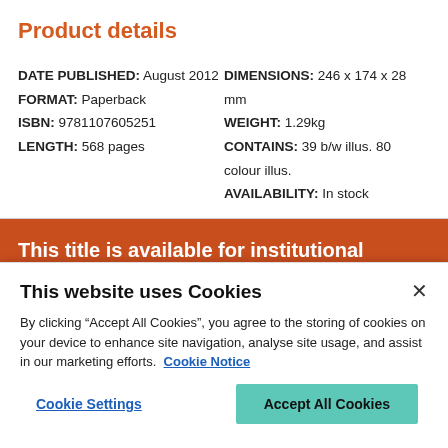Product details
DATE PUBLISHED: August 2012
FORMAT: Paperback
ISBN: 9781107605251
LENGTH: 568 pages
DIMENSIONS: 246 x 174 x 28 mm
WEIGHT: 1.29kg
CONTAINS: 39 b/w illus. 80 colour illus.
AVAILABILITY: In stock
This title is available for institutional purchase via Cambridge Core
This website uses Cookies
By clicking “Accept All Cookies”, you agree to the storing of cookies on your device to enhance site navigation, analyse site usage, and assist in our marketing efforts.  Cookie Notice
Cookie Settings
Accept All Cookies